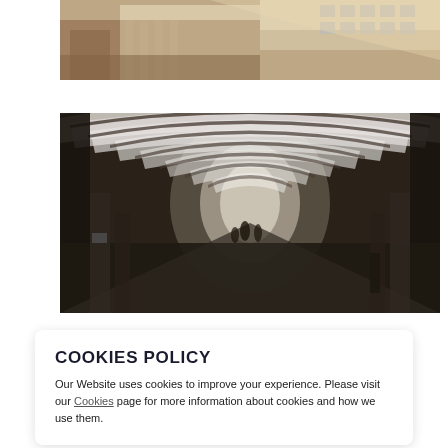[Figure (photo): Aerial or elevated view of a building exterior with classical architecture, columns, and rooftop structures visible from above. Warm tones, sunlit.]
[Figure (photo): Interior corridor or hallway of a large building with a dramatic arched/vaulted transparent roof structure, receding into the distance with people visible at the far end. Dark, moody lighting.]
COOKIES POLICY
Our Website uses cookies to improve your experience. Please visit our Cookies page for more information about cookies and how we use them.